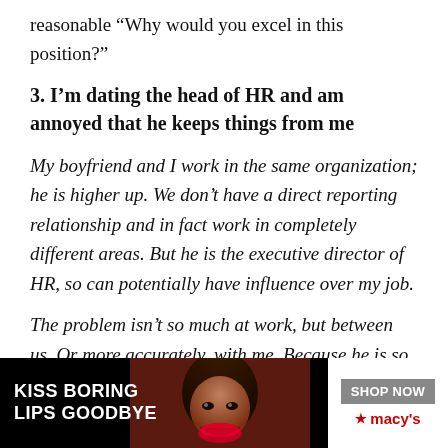reasonable “Why would you excel in this position?”
3. I’m dating the head of HR and am annoyed that he keeps things from me
My boyfriend and I work in the same organization; he is higher up. We don’t have a direct reporting relationship and in fact work in completely different areas. But he is the executive director of HR, so can potentially have influence over my job.
The problem isn’t so much at work, but between us. Or more accurately, with me. Because he is so senior [ad overlay] to a lot mo[re KISS BORING LIPS GOODBYE / SHOP NOW / macy’s] e of
[Figure (other): Advertisement overlay: Black background with 'KISS BORING LIPS GOODBYE' text in white on left, a woman's face with red lips in center, and 'SHOP NOW' button with Macy's star logo on right. 'CLOSE' button in top right corner.]